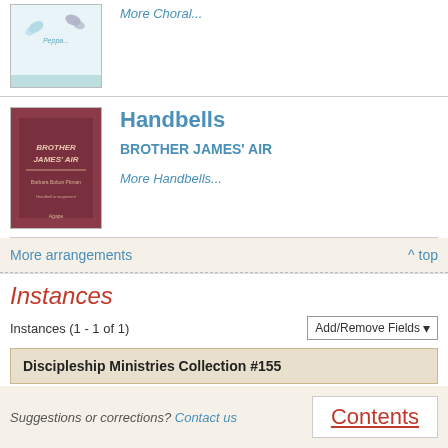[Figure (illustration): Book cover thumbnail at top, partial view with butterfly illustration]
More Choral...
Handbells
[Figure (illustration): Dark red/maroon book cover for Brother James' Air handbell arrangement]
BROTHER JAMES' AIR
More Handbells...
More arrangements
^ top
Instances
Instances (1 - 1 of 1)
Add/Remove Fields
Discipleship Ministries Collection #155
All instances
^ top
Suggestions or corrections? Contact us
Contents